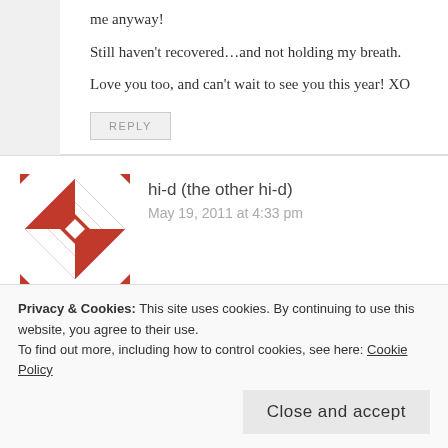me anyway!
Still haven't recovered…and not holding my breath.
Love you too, and can't wait to see you this year! XO
REPLY
hi-d (the other hi-d)
May 19, 2011 at 4:33 pm
Too funny! I can definitely relate to some of this. The thing that I have found to be true even more than before is that old
Privacy & Cookies: This site uses cookies. By continuing to use this website, you agree to their use.
To find out more, including how to control cookies, see here: Cookie Policy
Close and accept